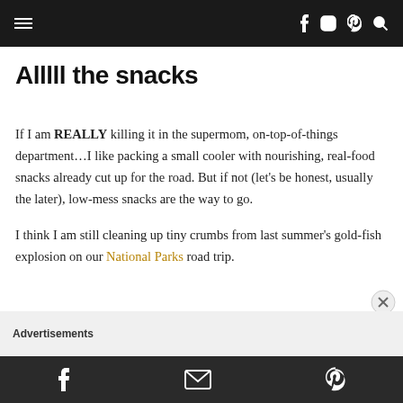Navigation header with menu icon and social icons (f, instagram, pinterest, search)
Alllll the snacks
If I am REALLY killing it in the supermom, on-top-of-things department...I like packing a small cooler with nourishing, real-food snacks already cut up for the road. But if not (let's be honest, usually the later), low-mess snacks are the way to go.
I think I am still cleaning up tiny crumbs from last summer's gold-fish explosion on our National Parks road trip.
Footer with Facebook, email, and Pinterest share icons